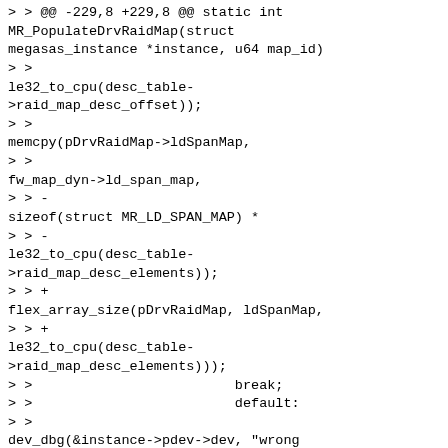> > @@ -229,8 +229,8 @@ static int MR_PopulateDrvRaidMap(struct megasas_instance *instance, u64 map_id)
> >
le32_to_cpu(desc_table->raid_map_desc_offset));
> >
memcpy(pDrvRaidMap->ldSpanMap,
> >
fw_map_dyn->ld_span_map,
> > -
sizeof(struct MR_LD_SPAN_MAP) *
> > -
le32_to_cpu(desc_table->raid_map_desc_elements));
> > +
flex_array_size(pDrvRaidMap, ldSpanMap,
> > +
le32_to_cpu(desc_table->raid_map_desc_elements)));
> >                              break;
> >                              default:
> >
dev_dbg(&instance->pdev->dev, "wrong number of desctableElements %d\n",
> > @@ -254,7 +254,7 @@ static int MR_PopulateDrvRaidMap(struct megasas_instance *instance, u64 map_id)
> >                              pDrvRaidMap->ldTgtIdToLd[i] =